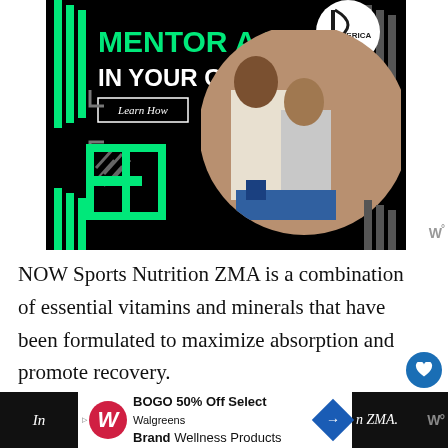[Figure (photo): Advertisement banner with black background. Text reads 'MENTOR A KID IN YOUR COMMUNITY.' in green and white bold uppercase letters. Green geometric E logo on bottom left, circular photo of adult mentoring a child with a robot/toy kit on the right. 'Learn How' button in white border. Decorative green and gray vertical bars on sides.]
NOW Sports Nutrition ZMA is a combination of essential vitamins and minerals that have been formulated to maximize absorption and promote recovery.
[Figure (infographic): Bottom advertisement bar showing Walgreens BOGO 50% Off Select Walgreens Brand Wellness Products. Walgreens W logo on left, blue navigation diamond icon, dark side panels with W° branding icons. Partial text reading 'In... n ZMA.' visible on dark side sections.]